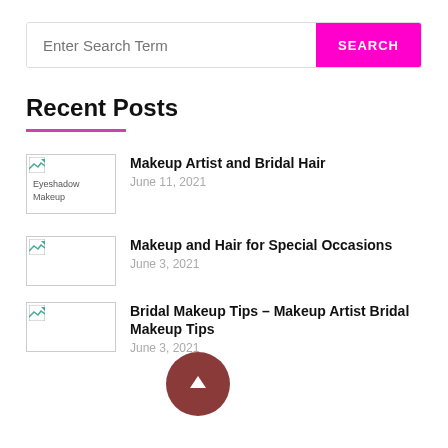Enter Search Term
Recent Posts
Makeup Artist and Bridal Hair
June 11, 2021
Makeup and Hair for Special Occasions
June 3, 2021
Bridal Makeup Tips – Makeup Artist Bridal Makeup Tips
June 3, 2021
[Figure (other): Scroll to top circular button with upward arrow]